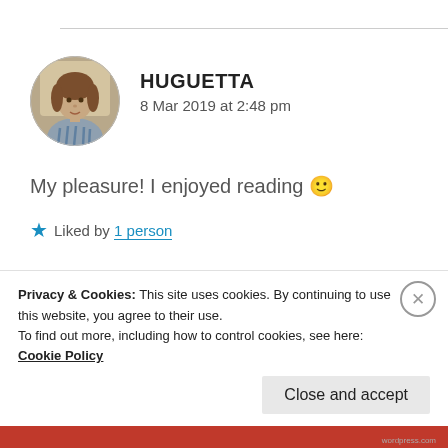[Figure (photo): Circular avatar photo of a woman with brown hair]
HUGUETTA
8 Mar 2019 at 2:48 pm
My pleasure! I enjoyed reading 🙂
★ Liked by 1 person
[Figure (photo): Circular avatar showing a person wearing a red/dark hat]
ZEALOUS HOMO SAPIENS
Privacy & Cookies: This site uses cookies. By continuing to use this website, you agree to their use.
To find out more, including how to control cookies, see here: Cookie Policy
Close and accept